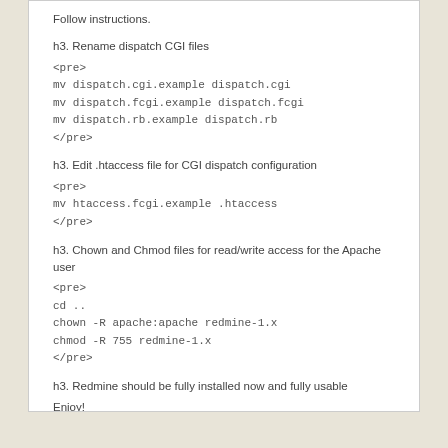Follow instructions.
h3. Rename dispatch CGI files
<pre>
mv dispatch.cgi.example dispatch.cgi
mv dispatch.fcgi.example dispatch.fcgi
mv dispatch.rb.example dispatch.rb
</pre>
h3. Edit .htaccess file for CGI dispatch configuration
<pre>
mv htaccess.fcgi.example .htaccess
</pre>
h3. Chown and Chmod files for read/write access for the Apache user
<pre>
cd ..
chown -R apache:apache redmine-1.x
chmod -R 755 redmine-1.x
</pre>
h3. Redmine should be fully installed now and fully usable
Enjoy!